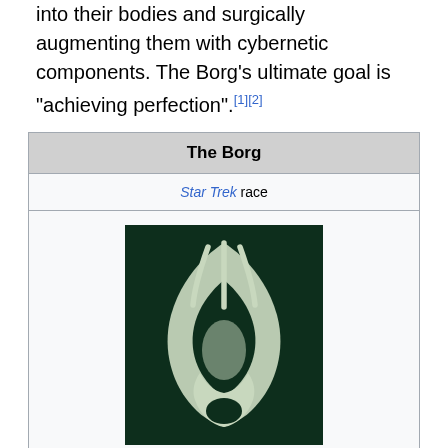into their bodies and surgically augmenting them with cybernetic components. The Borg's ultimate goal is "achieving perfection".[1][2]
| The Borg |
| --- |
| Star Trek race |
| [image: Borg insignia] |
| Borg insignia designed by Rick Sternbach. It first appeared in the episode "Q Who".[n 1] |
| Created by | Maurice Hurley |
| In universe information |
Borg insignia designed by Rick Sternbach. It first appeared in the episode "Q Who".[n 1]